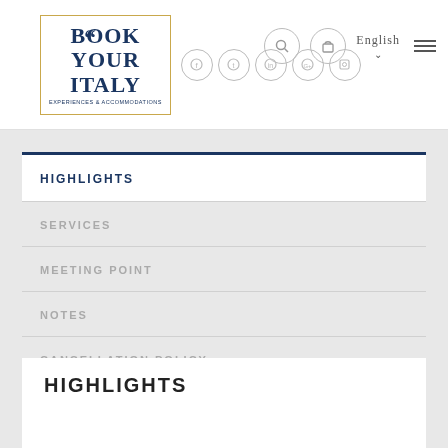Book Your Italy — English navigation header with logo, social icons, search, bag, language selector, and hamburger menu
HIGHLIGHTS
SERVICES
MEETING POINT
NOTES
CANCELLATION POLICY
HIGHLIGHTS